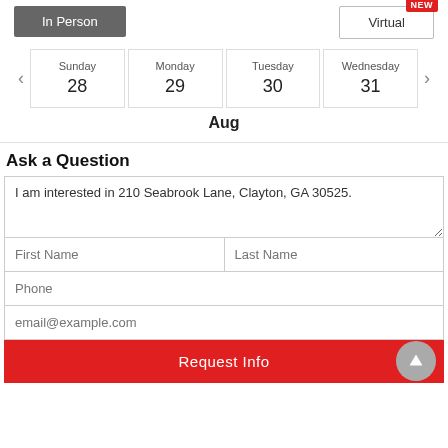In Person
Virtual
NEW
Sunday 28
Monday 29
Tuesday 30
Wednesday 31
Aug
Ask a Question
I am interested in 210 Seabrook Lane, Clayton, GA 30525.
First Name
Last Name
Phone
email@example.com
Request Info